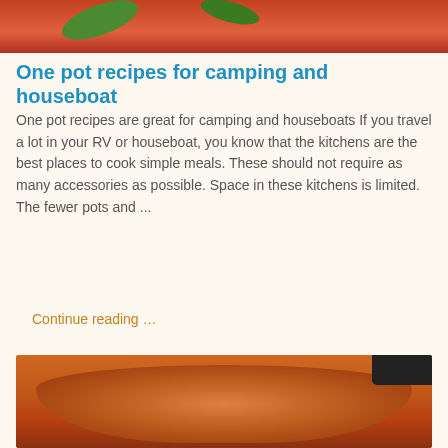[Figure (photo): Food photo showing a dish in a pan with tomato sauce, garnished with sesame seeds and green herbs]
One pot recipes for camping and houseboat
One pot recipes are great for camping and houseboats If you travel a lot in your RV or houseboat, you know that the kitchens are the best places to cook simple meals. These should not require as many accessories as possible. Space in these kitchens is limited. The fewer pots and ...
Continue reading …
[Figure (photo): Photo of a pot on a stove with tomato-based sauce or stew cooking inside]